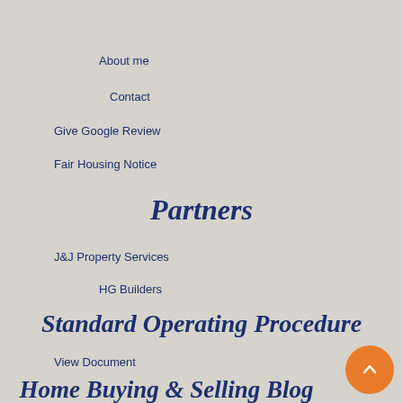About me
Contact
Give Google Review
Fair Housing Notice
Partners
J&J Property Services
HG Builders
Standard Operating Procedure
View Document
Home Buying & Selling Blog